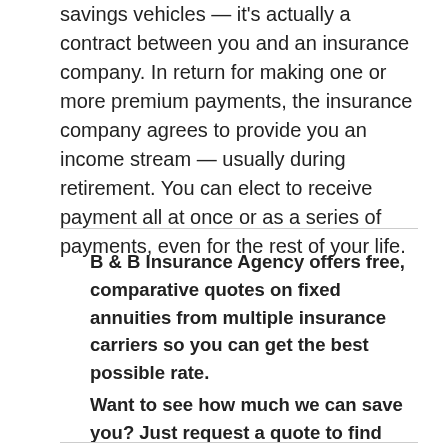savings vehicles — it's actually a contract between you and an insurance company. In return for making one or more premium payments, the insurance company agrees to provide you an income stream — usually during retirement. You can elect to receive payment all at once or as a series of payments, even for the rest of your life.
B & B Insurance Agency offers free, comparative quotes on fixed annuities from multiple insurance carriers so you can get the best possible rate. Want to see how much we can save you? Just request a quote to find out.